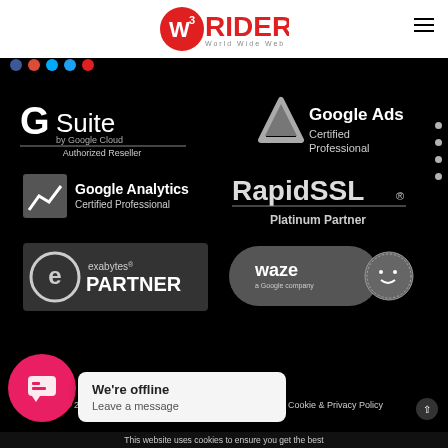W3RIDER World Wide Web
[Figure (logo): W3Rider logo with red circular emblem and text 'W3RIDER World Wide Web']
[Figure (logo): G Suite by Google Cloud - Authorized Reseller badge]
[Figure (logo): Google Ads Certified Professional badge]
[Figure (logo): Google Analytics Certified Professional badge]
[Figure (logo): RapidSSL Platinum Partner badge]
[Figure (logo): Exabytes Partner badge - dark rectangular badge]
[Figure (logo): Waze Certified - a Google company badge]
© 2022 W3Rider Global Sdn Bhd. All Rights Reserved | Cookie & Privacy Policy
We're offline
Leave a message
This website uses cookies to ensure you get the best